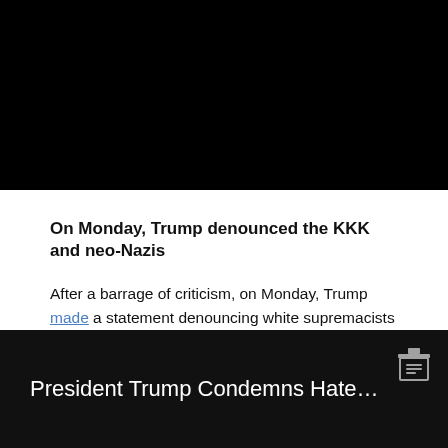[Figure (screenshot): Black rectangle representing a video player thumbnail at the top of the page]
On Monday, Trump denounced the KKK and neo-Nazis
After a barrage of criticism, on Monday, Trump made a statement denouncing white supremacists by name: “Racism is evil, and those who cause violence in its name are criminals and thugs, including the KKK, neo-Nazis, white supremacists, and other hate groups that are repugnant to everything we hold dear as Americans.”
[Figure (screenshot): Dark video thumbnail with text: President Trump Condemns Hate... and an archive icon in the top right corner]